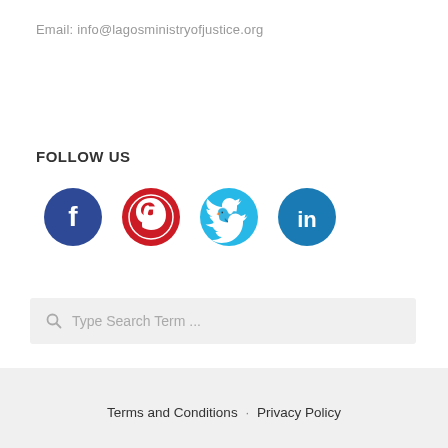Email: info@lagosministryofjustice.org
FOLLOW US
[Figure (infographic): Four social media icons: Facebook (dark blue), Pinterest (red), Twitter (light blue), LinkedIn (dark teal)]
Type Search Term ...
Terms and Conditions · Privacy Policy